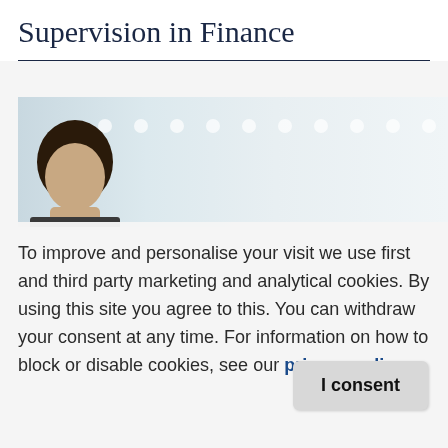Supervision in Finance
[Figure (photo): Partial view of a person's head in front of a blurred glass/office background with light circles/bokeh effects]
To improve and personalise your visit we use first and third party marketing and analytical cookies. By using this site you agree to this. You can withdraw your consent at any time. For information on how to block or disable cookies, see our privacy policy